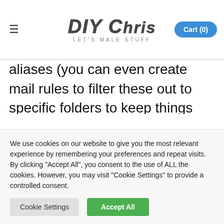DIY Chris — Let's Male Stuff | Cart (0)
aliases (you can even create mail rules to filter these out to specific folders to keep things organized) – I was unable to send e-mails from these aliases. I started doing some research online and found a few solutions but they all seemed cumbersome to setup as well as maintain. So I found a solution that
We use cookies on our website to give you the most relevant experience by remembering your preferences and repeat visits. By clicking "Accept All", you consent to the use of ALL the cookies. However, you may visit "Cookie Settings" to provide a controlled consent.
Cookie Settings | Accept All